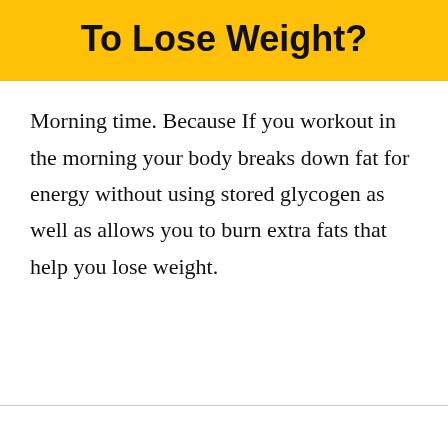To Lose Weight?
Morning time. Because If you workout in the morning your body breaks down fat for energy without using stored glycogen as well as allows you to burn extra fats that help you lose weight.